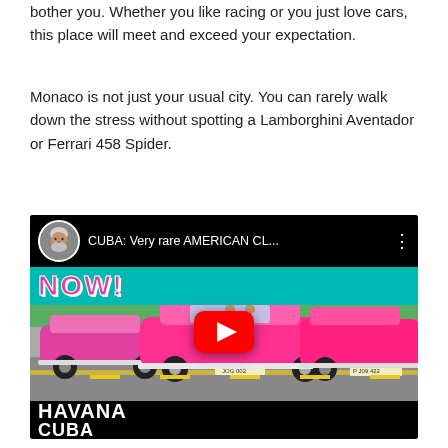bother you. Whether you like racing or you just love cars, this place will meet and exceed your expectation.
Monaco is not just your usual city. You can rarely walk down the stress without spotting a Lamborghini Aventador or Ferrari 458 Spider.
[Figure (screenshot): YouTube video thumbnail showing classic American cars (pink/magenta convertibles) in Havana, Cuba. Video title reads 'CUBA: Very rare AMERICAN CL...' with a play button overlay. Bottom text shows 'HAVANA' and 'CUBA'. A circular avatar of a gray-haired man is shown in the top left.]